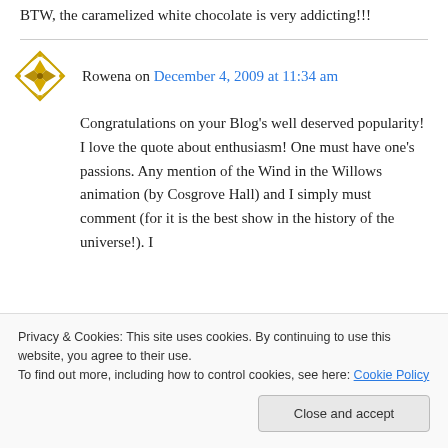BTW, the caramelized white chocolate is very addicting!!!
Rowena on December 4, 2009 at 11:34 am
Congratulations on your Blog's well deserved popularity! I love the quote about enthusiasm! One must have one's passions. Any mention of the Wind in the Willows animation (by Cosgrove Hall) and I simply must comment (for it is the best show in the history of the universe!). I
Privacy & Cookies: This site uses cookies. By continuing to use this website, you agree to their use.
To find out more, including how to control cookies, see here: Cookie Policy
Close and accept